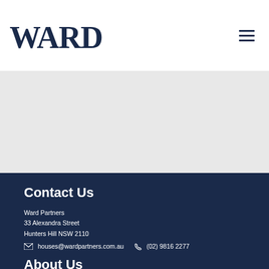WARD
[Figure (other): Gray placeholder section]
Contact Us
Ward Partners
33 Alexandra Street
Hunters Hill NSW 2110
houses@wardpartners.com.au  (02) 9816 2277
About Us